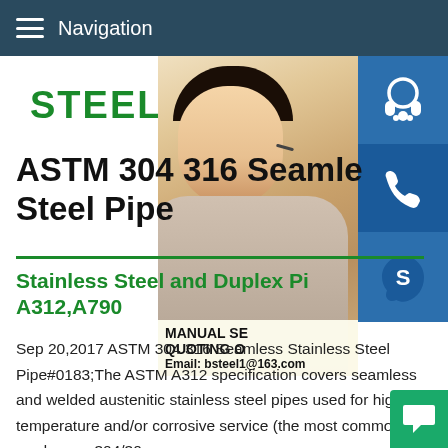Navigation
STEEL GR...
[Figure (photo): Customer service representative (young woman with headset) overlaid with contact icons (headset/chat, phone, Skype) and a contact info box showing MANUAL SE... / QUOTING O... / Email: bsteel1@163.com]
ASTM 304 316 Seamless Stainless Steel Pipe
Stainless Steel and Duplex Pipe A312,A790
Sep 20,2017 ASTM 304 316 Seamless Stainless Steel Pipe#0183;The ASTM A312 specification covers seamless and welded austenitic stainless steel pipes used for high temperature and/or corrosive service (the most common grades are 304/304L and 316/316L).The A790 specification covers seamless duplex...